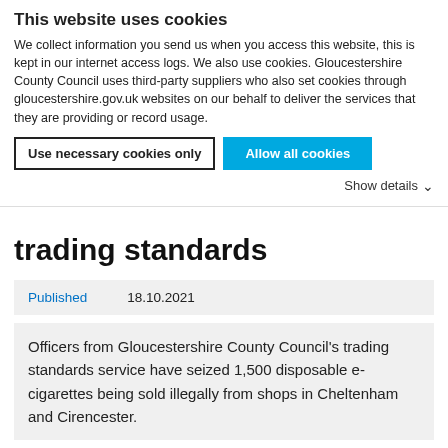This website uses cookies
We collect information you send us when you access this website, this is kept in our internet access logs. We also use cookies. Gloucestershire County Council uses third-party suppliers who also set cookies through gloucestershire.gov.uk websites on our behalf to deliver the services that they are providing or record usage.
Use necessary cookies only | Allow all cookies
Show details
trading standards
| Published | 18.10.2021 |
| --- | --- |
Officers from Gloucestershire County Council's trading standards service have seized 1,500 disposable e-cigarettes being sold illegally from shops in Cheltenham and Cirencester.
[Figure (photo): Gloucestershire County Council logo/banner at the bottom of the page, partially visible]